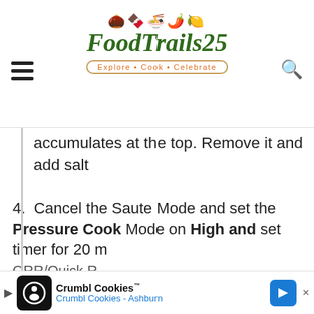FoodTrails25 - Explore · Cook · Celebrate
accumulates at the top. Remove it and add salt
4. Cancel the Saute Mode and set the Pressure Cook Mode on High and set timer for 20 m... QRR/Quick R...
[Figure (screenshot): Video player loading overlay showing spinning loader on black background]
Privacy & Cookies: Thi... use this website, you a... To find out more, inclu...
Cookie Policy
5. Use as required
[Figure (screenshot): Crumbl Cookies advertisement banner - Crumbl Cookies Ashburn]